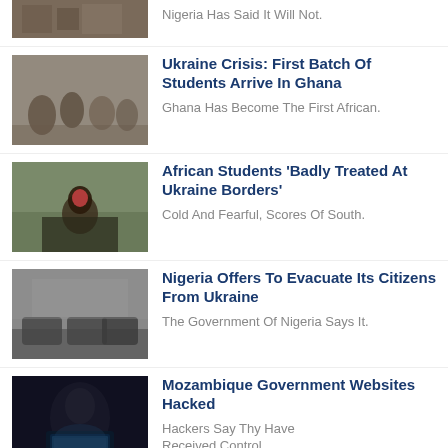[Figure (photo): Top cropped photo showing figures in military or crowd scene]
Nigeria Has Said It Will Not.
[Figure (photo): Crowd of people, likely students, in a transit area]
Ukraine Crisis: First Batch Of Students Arrive In Ghana
Ghana Has Become The First African.
[Figure (photo): Person with red hat smiling outdoors in cold weather]
African Students 'Badly Treated At Ukraine Borders'
Cold And Fearful, Scores Of South.
[Figure (photo): Military vehicles driving down a street]
Nigeria Offers To Evacuate Its Citizens From Ukraine
The Government Of Nigeria Says It.
[Figure (photo): Hooded figure in dark room with glowing laptop screen — hacker imagery]
Mozambique Government Websites Hacked
Hackers Say Thy Have Received Control.